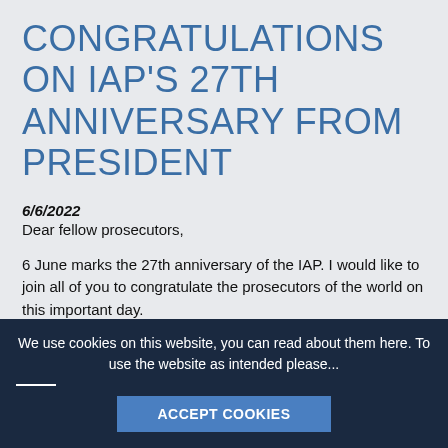CONGRATULATIONS ON IAP'S 27TH ANNIVERSARY FROM PRESIDENT
6/6/2022
Dear fellow prosecutors,
6 June marks the 27th anniversary of the IAP. I would like to join all of you to congratulate the prosecutors of the world on this important day.
In more than two years, we now see the end of the long and dark tunnel of the pandemic and a full recovery is in sight
We use cookies on this website, you can read about them here. To use the website as intended please...
ACCEPT COOKIES